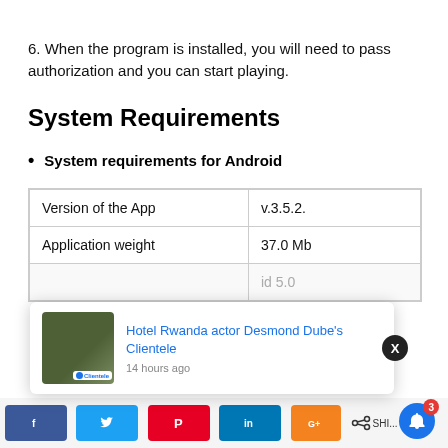6. When the program is installed, you will need to pass authorization and you can start playing.
System Requirements
System requirements for Android
| Version of the App | v.3.5.2. |
| Application weight | 37.0 Mb |
| Compatibility | Android 5.0 |
[Figure (screenshot): Notification popup for 'Hotel Rwanda actor Desmond Dube's Clientele' article, posted 14 hours ago, with a photo thumbnail and Clientele logo badge.]
[Figure (screenshot): Bottom share bar with Facebook, Twitter, Pinterest, LinkedIn, Google+ buttons and a share icon. Blue notification bell button with red badge showing 3.]